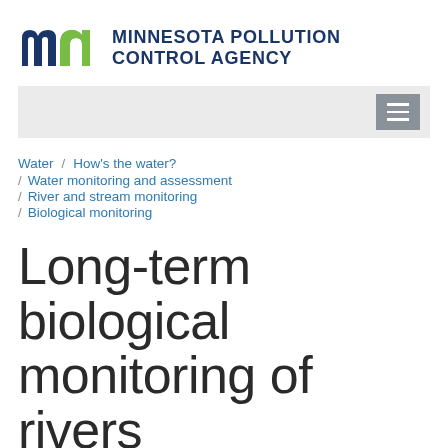[Figure (logo): Minnesota Pollution Control Agency logo with stylized 'mn' letters in dark blue and green, followed by bold uppercase text 'MINNESOTA POLLUTION CONTROL AGENCY' in dark navy blue]
[Figure (screenshot): Navigation bar with gray background and hamburger menu button (three horizontal white lines on gray square) on the right side]
Water / How's the water? / Water monitoring and assessment / River and stream monitoring / Biological monitoring
Long-term biological monitoring of rivers